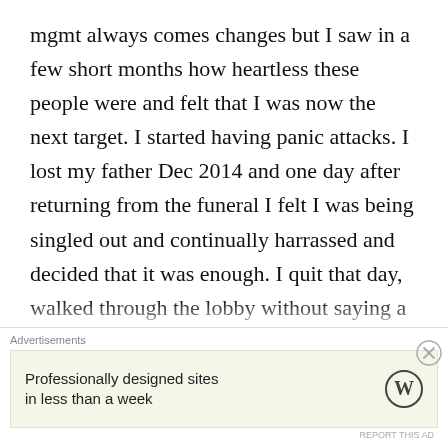mgmt always comes changes but I saw in a few short months how heartless these people were and felt that I was now the next target. I started having panic attacks. I lost my father Dec 2014 and one day after returning from the funeral I felt I was being singled out and continually harrassed and decided that it was enough. I quit that day, walked through the lobby without saying a word to anyone. I did talk to outside sources as I knew local HR is a joke. I contacted the regional HR as I thought I had a relationship, well I got only a typical response so I knew they didn't want to hear my side. Know that you are
Advertisements
Professionally designed sites in less than a week